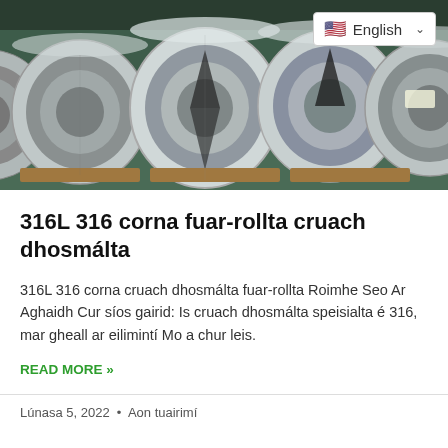[Figure (photo): Industrial steel coils (stainless steel rolls) stored in a warehouse with green floor, viewed from the side showing the circular cross-sections. A language selector badge showing 'English' with US flag is overlaid in the top-right corner.]
316L 316 corna fuar-rollta cruach dhosmálta
316L 316 corna cruach dhosmálta fuar-rollta Roimhe Seo Ar Aghaidh Cur síos gairid: Is cruach dhosmálta speisialta é 316, mar gheall ar eilimintí Mo a chur leis.
READ MORE »
Lúnasa 5, 2022  •  Aon tuairimí